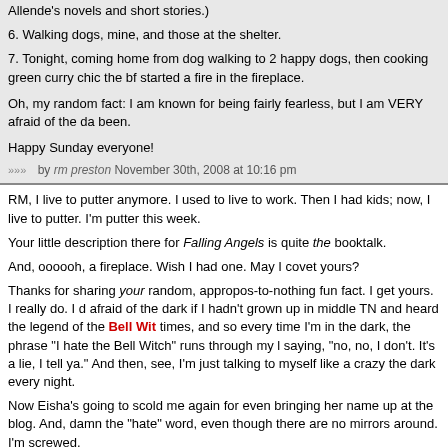6. Walking dogs, mine, and those at the shelter.
7. Tonight, coming home from dog walking to 2 happy dogs, then cooking green curry chic the bf started a fire in the fireplace.
Oh, my random fact: I am known for being fairly fearless, but I am VERY afraid of the da been.
Happy Sunday everyone!
by rm preston November 30th, 2008 at 10:16 pm
RM, I live to putter anymore. I used to live to work. Then I had kids; now, I live to putter. I'm putter this week.
Your little description there for Falling Angels is quite the booktalk.
And, oooooh, a fireplace. Wish I had one. May I covet yours?
Thanks for sharing your random, appropos-to-nothing fun fact. I get yours. I really do. I d afraid of the dark if I hadn't grown up in middle TN and heard the legend of the Bell Witch times, and so every time I'm in the dark, the phrase "I hate the Bell Witch" runs through my l saying, "no, no, I don't. It's a lie, I tell ya." And then, see, I'm just talking to myself like a crazy the dark every night.
Now Eisha's going to scold me again for even bringing her name up at the blog. And, damn the "hate" word, even though there are no mirrors around. I'm screwed.
I digressed. Sorry. Thanks for visiting and kicks-listing with us!
by jules November 30th, 2008 at 10:31 pm
The vibe here is so great. That could just about be my first kick.
1) In contrast to Jules' large healthy Christmas tree, we got a short, scraggly Charlie Br